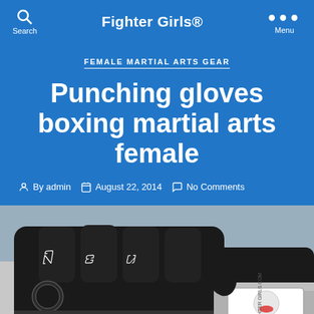Fighter Girls®
FEMALE MARTIAL ARTS GEAR
Punching gloves boxing martial arts female
By admin   August 22, 2014   No Comments
[Figure (photo): Black MMA/boxing punching gloves with white knuckle details and a Fighter Girls branded wrist wrap label visible on the right glove, photographed on a light grey surface.]